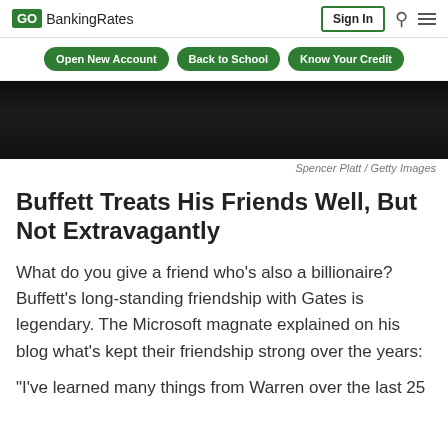GO BankingRates | Sign In
Open New Account  Back to School  Know Your Credit
[Figure (photo): Dark photograph of people, possibly Warren Buffett and associates]
Spencer Platt / Getty Images
Buffett Treats His Friends Well, But Not Extravagantly
What do you give a friend who's also a billionaire? Buffett's long-standing friendship with Gates is legendary. The Microsoft magnate explained on his blog what's kept their friendship strong over the years:
"I've learned many things from Warren over the last 25